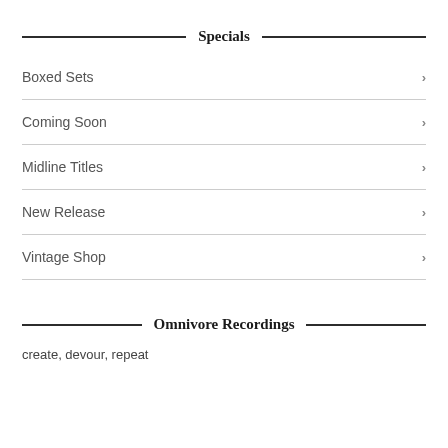Specials
Boxed Sets
Coming Soon
Midline Titles
New Release
Vintage Shop
Omnivore Recordings
create, devour, repeat